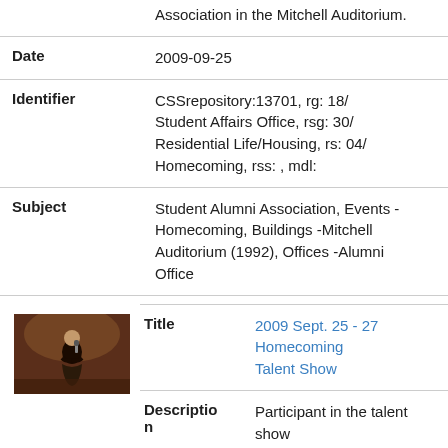Association in the Mitchell Auditorium.
| Field | Value |
| --- | --- |
| Date | 2009-09-25 |
| Identifier | CSSrepository:13701, rg: 18/ Student Affairs Office, rsg: 30/ Residential Life/Housing, rs: 04/ Homecoming, rss: , mdl: |
| Subject | Student Alumni Association, Events - Homecoming, Buildings -Mitchell Auditorium (1992), Offices -Alumni Office |
[Figure (photo): Thumbnail photo of a person performing at a talent show, dark brown background with a figure singing or speaking into a microphone.]
| Field | Value |
| --- | --- |
| Title | 2009 Sept. 25 - 27 Homecoming Talent Show |
| Description | Participant in the talent show sponsored by the Student Alumni Association in the Mitchell |